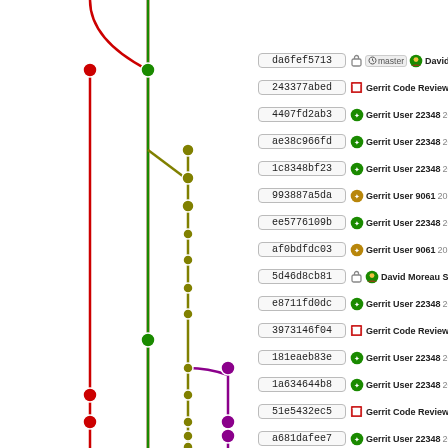[Figure (other): Git repository commit graph visualization showing branching lines (green, red, olive/yellow-green, purple) with colored dots at commit points, representing a version control history with multiple branches merging]
da6fef5713 - master - David More... (branch/tag indicator with lock icon)
243377abed - Gerrit Code Review 2021-02-
4407fd2ab3 - Gerrit User 22348 2021-02-2
ae38c966fd - Gerrit User 22348 2021-02-2
1c8348bf23 - Gerrit User 22348 2021-02-2
993887a5da - Gerrit User 9061 2021-02-25
ee5776109b - Gerrit User 22348 2021-02-2
af0bdfdc03 - Gerrit User 9061 2021-02-25
5d46d8cb81 - David Moreau Simard (with lock icon)
e8711fd0dc - Gerrit User 22348 2021-02-1
3973146f04 - Gerrit Code Review 2021-02-
181eaeb83e - Gerrit User 22348 2021-02-1
1a634644b8 - Gerrit User 22348 2021-02-1
51e5432ec5 - Gerrit Code Review 2021-02-
a681dafee7 - Gerrit User 22348 2021-02-1
1bbe11a92c - Gerrit User 22348 2021-02-1
e075c71961 - Gerrit User 22348 2021-02-1
a90bb4c8e9 - Gerrit User 9061 2021-02-19